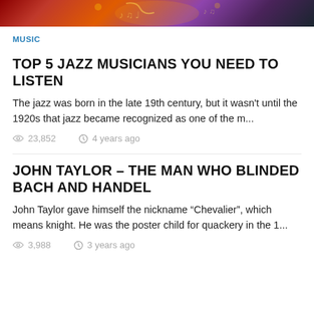[Figure (illustration): Colorful jazz music illustration with musical notes and figures on orange/purple background]
MUSIC
TOP 5 JAZZ MUSICIANS YOU NEED TO LISTEN
The jazz was born in the late 19th century, but it wasn't until the 1920s that jazz became recognized as one of the m...
23,852   4 years ago
JOHN TAYLOR – THE MAN WHO BLINDED BACH AND HANDEL
John Taylor gave himself the nickname “Chevalier”, which means knight. He was the poster child for quackery in the 1...
3,988   3 years ago